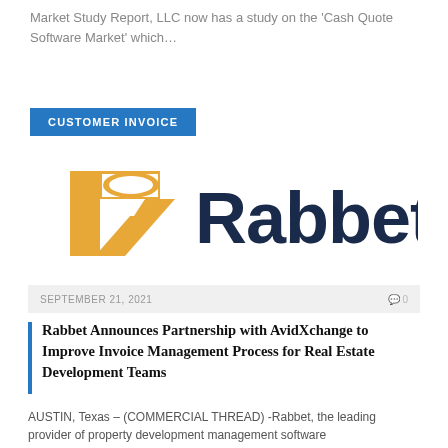Market Study Report, LLC now has a study on the 'Cash Quote Software Market' which…
CUSTOMER INVOICE
[Figure (logo): Rabbet company logo: orange/gold stylized R icon on the left, followed by the word 'Rabbet' in dark navy blue sans-serif bold text]
SEPTEMBER 21, 2021   0 0
Rabbet Announces Partnership with AvidXchange to Improve Invoice Management Process for Real Estate Development Teams
AUSTIN, Texas – (COMMERCIAL THREAD) -Rabbet, the leading provider of property development management software